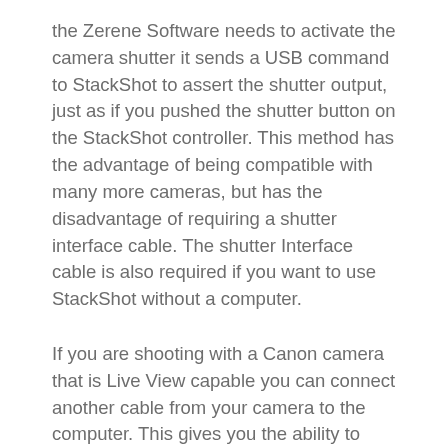the Zerene Software needs to activate the camera shutter it sends a USB command to StackShot to assert the shutter output, just as if you pushed the shutter button on the StackShot controller. This method has the advantage of being compatible with many more cameras, but has the disadvantage of requiring a shutter interface cable. The shutter Interface cable is also required if you want to use StackShot without a computer.
If you are shooting with a Canon camera that is Live View capable you can connect another cable from your camera to the computer. This gives you the ability to have the live view images displayed on the computer while stacking. You will need to make certain the live view images are visible on both the camera and the computer, or the camera will ignore the shutter pulses from StackShot. Nikon users will have the capability to